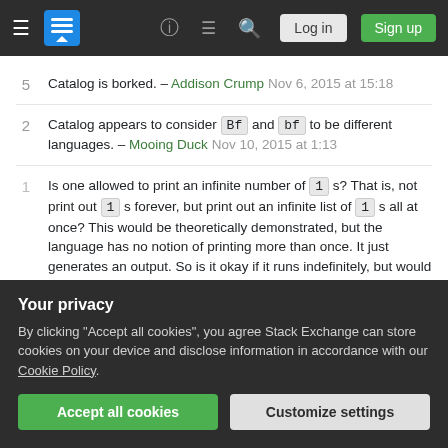Stack Exchange navigation bar with Log in and Sign up buttons
5 — Catalog is borked. – Addison Crump Nov 6, 2015 at 15:18
2 — Catalog appears to consider Bf and bf to be different languages. – Mooing Duck Nov 10, 2015 at 1:13
1 — Is one allowed to print an infinite number of 1 s? That is, not print out 1 s forever, but print out an infinite list of 1 s all at once? This would be theoretically demonstrated, but the language has no notion of printing more than once. It just generates an output. So is it okay if it runs indefinitely, but would print infinite 1 s given infinite time (to finish executing)? – AriES
Your privacy — By clicking "Accept all cookies", you agree Stack Exchange can store cookies on your device and disclose information in accordance with our Cookie Policy.
Accept all cookies | Customize settings